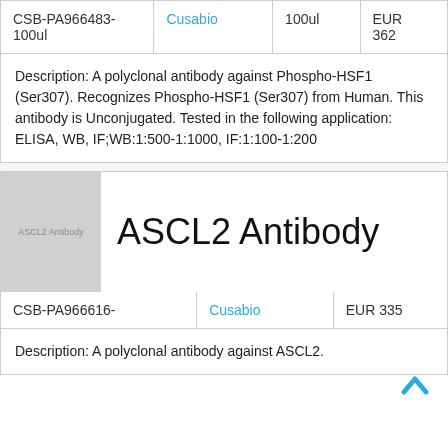| Product Code | Vendor | Size | Price |
| --- | --- | --- | --- |
| CSB-PA966483-100ul | Cusabio | 100ul | EUR 362 |
Description: A polyclonal antibody against Phospho-HSF1 (Ser307). Recognizes Phospho-HSF1 (Ser307) from Human. This antibody is Unconjugated. Tested in the following application: ELISA, WB, IF;WB:1:500-1:1000, IF:1:100-1:200
[Figure (photo): Placeholder thumbnail image for ASCL2 Antibody product]
ASCL2 Antibody
| Product Code | Vendor | Price |
| --- | --- | --- |
| CSB-PA966616- | Cusabio | EUR 335 |
Description: A polyclonal antibody against ASCL2.